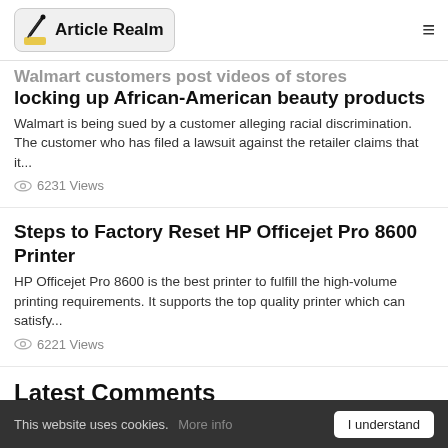Article Realm
locking up African-American beauty products
Walmart is being sued by a customer alleging racial discrimination. The customer who has filed a lawsuit against the retailer claims that it...
6231 Views
Steps to Factory Reset HP Officejet Pro 8600 Printer
HP Officejet Pro 8600 is the best printer to fulfill the high-volume printing requirements. It supports the top quality printer which can satisfy...
6221 Views
Latest Comments
This website uses cookies. More info  I understand